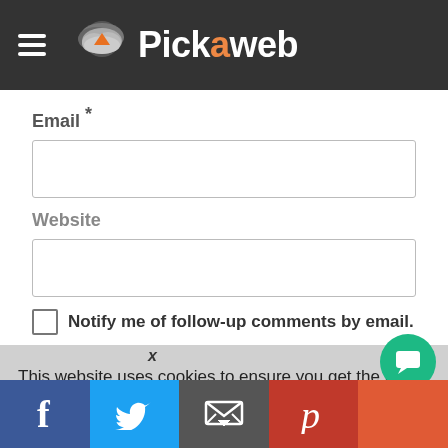Pickaweb
Email *
Website
Notify me of follow-up comments by email.
This website uses cookies to ensure you get the best experience on our website. Learn more
Accept